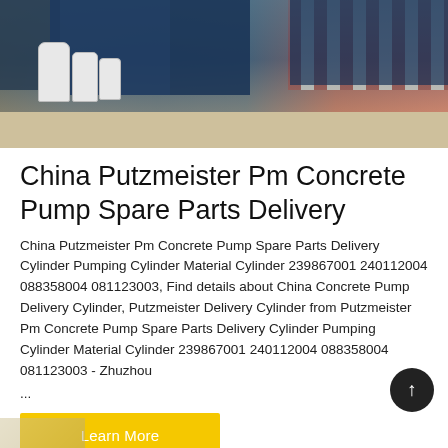[Figure (photo): Outdoor industrial site with white storage tanks, a blue building/container structure, and a striped red-and-white barrier or fence. Sandy ground in foreground.]
China Putzmeister Pm Concrete Pump Spare Parts Delivery
China Putzmeister Pm Concrete Pump Spare Parts Delivery Cylinder Pumping Cylinder Material Cylinder 239867001 240112004 088358004 081123003, Find details about China Concrete Pump Delivery Cylinder, Putzmeister Delivery Cylinder from Putzmeister Pm Concrete Pump Spare Parts Delivery Cylinder Pumping Cylinder Material Cylinder 239867001 240112004 088358004 081123003 - Zhuzhou ...
Learn More